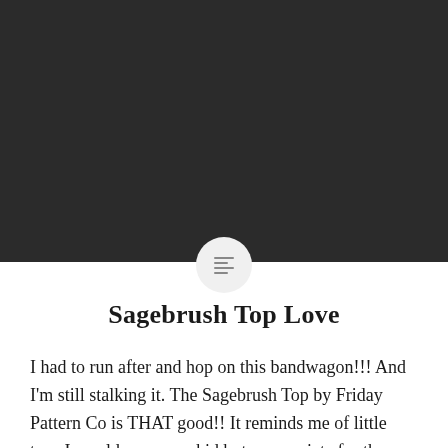[Figure (illustration): Dark banner image taking up the top portion of the page, with a small circular icon containing horizontal lines (hamburger/text menu icon) at the bottom center of the banner, overlapping the white content area below.]
Sagebrush Top Love
I had to run after and hop on this bandwagon!!! And I'm still stalking it. The Sagebrush Top by Friday Pattern Co is THAT good!! It reminds me of little tops I would wear as a kid but appropriate for the grown-up that I am, of course. I chose to